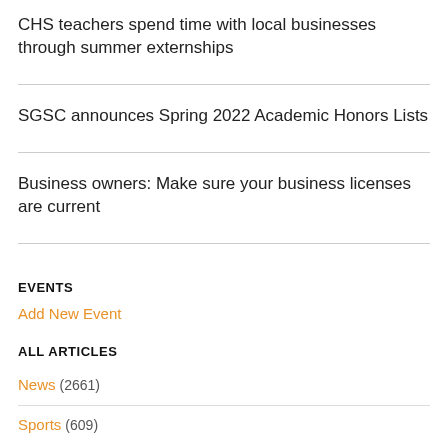CHS teachers spend time with local businesses through summer externships
SGSC announces Spring 2022 Academic Honors Lists
Business owners: Make sure your business licenses are current
EVENTS
Add New Event
ALL ARTICLES
News  (2661)
Sports  (609)